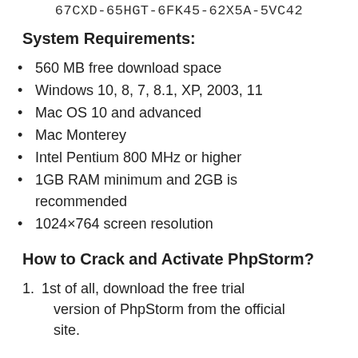67CXD-65HGT-6FK45-62X5A-5VC42
System Requirements:
560 MB free download space
Windows 10, 8, 7, 8.1, XP, 2003, 11
Mac OS 10 and advanced
Mac Monterey
Intel Pentium 800 MHz or higher
1GB RAM minimum and 2GB is recommended
1024×764 screen resolution
How to Crack and Activate PhpStorm?
1st of all, download the free trial version of PhpStorm from the official site.